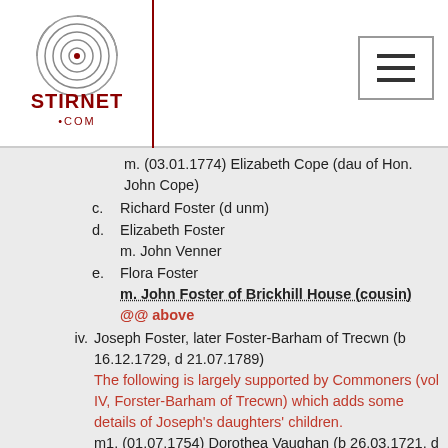[Figure (logo): Stirnet.com fingerprint logo with text STIRNET .COM in dark red]
m. (03.01.1774) Elizabeth Cope (dau of Hon. John Cope)
c. Richard Foster (d unm)
d. Elizabeth Foster
m. John Venner
e. Flora Foster
m. John Foster of Brickhill House (cousin)
@@ above
iv. Joseph Foster, later Foster-Barham of Trecwn (b 16.12.1729, d 21.07.1789)
The following is largely supported by Commoners (vol IV, Forster-Barham of Trecwn) which adds some details of Joseph's daughters' children.
m1. (01.07.1754) Dorothea Vaughan (b 26.03.1721, d 26.09.1781, dau of John Vaughan of Trecoon by Joan Corbet)
a. Joseph Foster-Barham of Stockbridge (b 01.01.1759, d 28.09.1832) had issue
m. (26.07.1792) Caroline Tufton (d 03.11.1832,